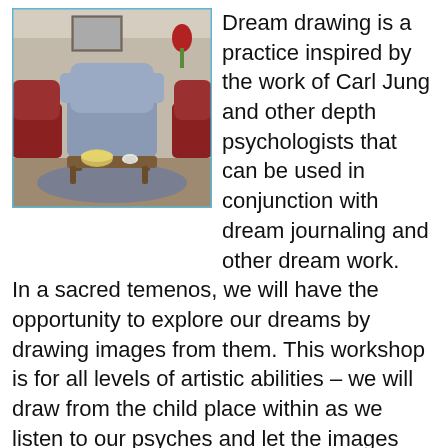[Figure (photo): Interior of a cozy room with a wingback armchair, side chairs, a coffee table with a bowl and teacup, and a rug on the floor. A red flower is visible in the background.]
Dream drawing is a practice inspired by the work of Carl Jung and other depth psychologists that can be used in conjunction with dream journaling and other dream work. In a sacred temenos, we will have the opportunity to explore our dreams by drawing images from them. This workshop is for all levels of artistic abilities – we will draw from the child place within as we listen to our psyches and let the images speak to us. The dream can become part of the collective in this process. There will be time for creating the dream-inspired art and time for sharing our creations with each other in small groups.
Bring:  A dream or two with images you are interested in working with through drawing/art